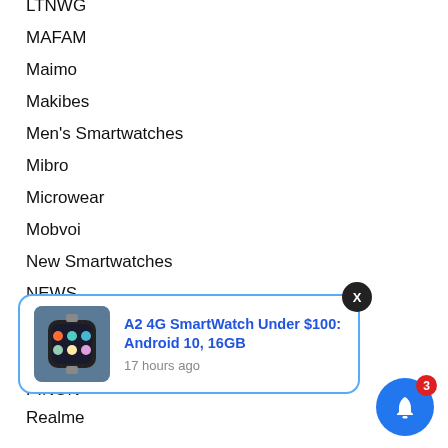LTNWG
MAFAM
Maimo
Makibes
Men's Smartwatches
Mibro
Microwear
Mobvoi
New Smartwatches
NEWS
Newwear
NORTH EDGE
[Figure (screenshot): Notification popup for 'A2 4G SmartWatch Under $100: Android 10, 16GB' with smartwatch image, close button (X), and timestamp '17 hours ago']
PINON
Realme